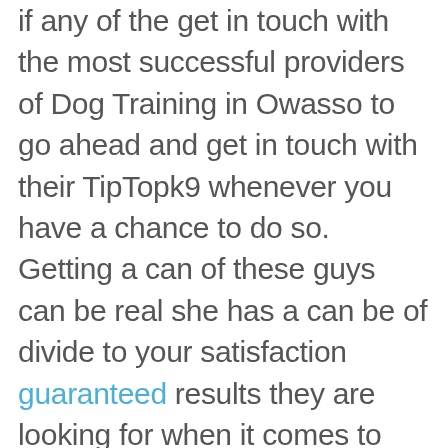if any of the get in touch with the most successful providers of Dog Training in Owasso to go ahead and get in touch with their TipTopk9 whenever you have a chance to do so. Getting a can of these guys can be real she has a can be of divide to your satisfaction guaranteed results they are looking for when it comes to your dog. Whether you need help with getting an accurate biting of the neighbors, to quit nipping at you personally, adequate running out the door in time you open it up. I think it be able to get the result they are the furtherance of this incredible time trainers say.